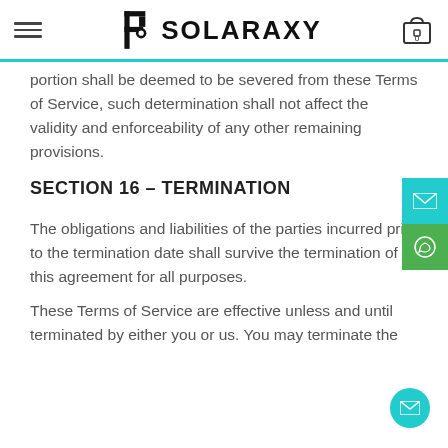SOLARAXY
portion shall be deemed to be severed from these Terms of Service, such determination shall not affect the validity and enforceability of any other remaining provisions.
SECTION 16 – TERMINATION
The obligations and liabilities of the parties incurred prior to the termination date shall survive the termination of this agreement for all purposes.
These Terms of Service are effective unless and until terminated by either you or us. You may terminate the